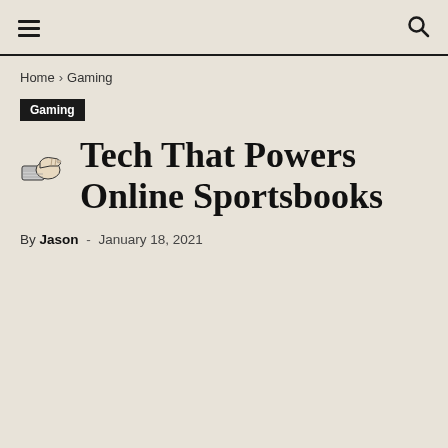≡  🔍
Home › Gaming
Gaming
Tech That Powers Online Sportsbooks
By Jason - January 18, 2021